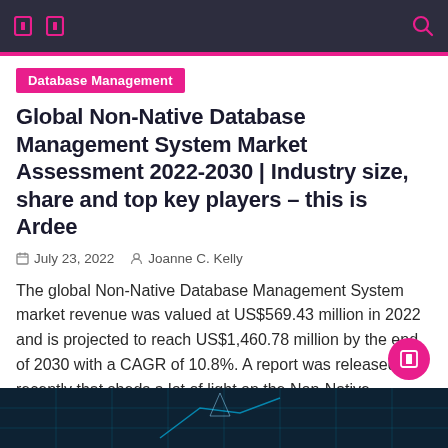Navigation bar with icons and search
Database Management
Global Non-Native Database Management System Market Assessment 2022-2030 | Industry size, share and top key players – this is Ardee
July 23, 2022  Joanne C. Kelly
The global Non-Native Database Management System market revenue was valued at US$569.43 million in 2022 and is projected to reach US$1,460.78 million by the end of 2030 with a CAGR of 10.8%. A report was released recently that sheds a lot of light on the Non-Native Database Management System Market. The report covers an industry [...]
[Figure (screenshot): Dark teal/navy background with grid pattern, partial chart or graphic visible at bottom of page]